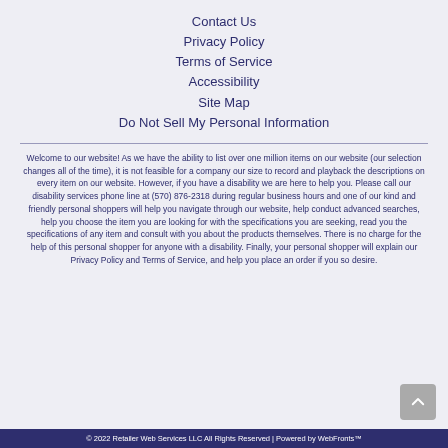Contact Us
Privacy Policy
Terms of Service
Accessibility
Site Map
Do Not Sell My Personal Information
Welcome to our website! As we have the ability to list over one million items on our website (our selection changes all of the time), it is not feasible for a company our size to record and playback the descriptions on every item on our website. However, if you have a disability we are here to help you. Please call our disability services phone line at (570) 876-2318 during regular business hours and one of our kind and friendly personal shoppers will help you navigate through our website, help conduct advanced searches, help you choose the item you are looking for with the specifications you are seeking, read you the specifications of any item and consult with you about the products themselves. There is no charge for the help of this personal shopper for anyone with a disability. Finally, your personal shopper will explain our Privacy Policy and Terms of Service, and help you place an order if you so desire.
© 2022 Retailer Web Services LLC All Rights Reserved | Powered by WebFronts™